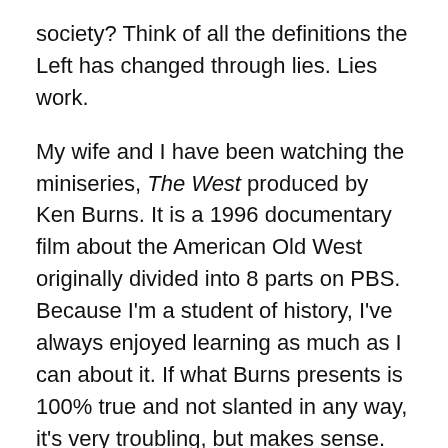society? Think of all the definitions the Left has changed through lies. Lies work.
My wife and I have been watching the miniseries, The West produced by Ken Burns. It is a 1996 documentary film about the American Old West originally divided into 8 parts on PBS. Because I'm a student of history, I've always enjoyed learning as much as I can about it. If what Burns presents is 100% true and not slanted in any way, it's very troubling, but makes sense. It's troubling because when America expanded West, the level of racism, bigotry, cowardice and crime expanded with it. It makes sense because it simply confirms that people are people, regardless of in what age they live. Thieves, cattle rustlers, bank robbers, corrupt government officials and more – it's all there in America's past and it remains with us today as well. No amount of gun control or new laws will put a dent